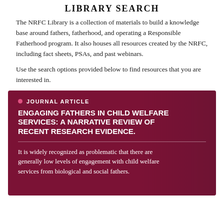LIBRARY SEARCH
The NRFC Library is a collection of materials to build a knowledge base around fathers, fatherhood, and operating a Responsible Fatherhood program. It also houses all resources created by the NRFC, including fact sheets, PSAs, and past webinars.
Use the search options provided below to find resources that you are interested in.
[Figure (other): Dark red/maroon card with a background photo of men, overlaid with text. Labeled 'JOURNAL ARTICLE' with a pink dot. Title: 'ENGAGING FATHERS IN CHILD WELFARE SERVICES: A NARRATIVE REVIEW OF RECENT RESEARCH EVIDENCE.' Followed by a horizontal rule and excerpt text.]
JOURNAL ARTICLE
ENGAGING FATHERS IN CHILD WELFARE SERVICES: A NARRATIVE REVIEW OF RECENT RESEARCH EVIDENCE.
It is widely recognized as problematic that there are generally low levels of engagement with child welfare services from biological and social fathers.